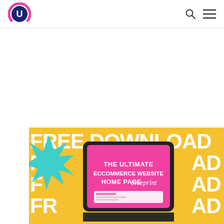U logo with search and menu navigation icons
[Figure (illustration): Yellow banner advertisement with 'FREE DOWNLOAD' text repeated in large white bold letters across multiple rows, a teal starburst shape on the left, and a tablet mockup in the center showing a pink screen with white text: 'THE ULTIMATE ECCOMMERCE WEBSITE HOME PAGE blueprint']